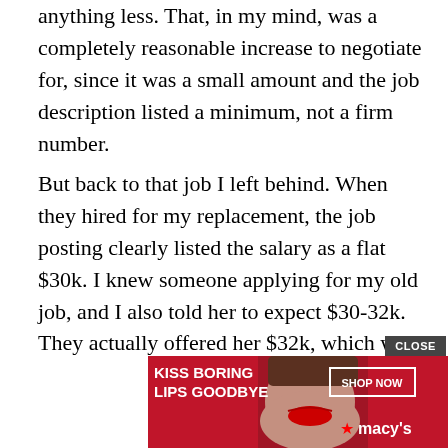anything less. That, in my mind, was a completely reasonable increase to negotiate for, since it was a small amount and the job description listed a minimum, not a firm number.
But back to that job I left behind. When they hired for my replacement, the job posting clearly listed the salary as a flat $30k. I knew someone applying for my old job, and I also told her to expect $30-32k. They actually offered her $32k, which was already above the listed salary, and she came back asking for $38k. Clearly they couldn't do that, since they had already lost me because they couldn't pay more. They were not able to come to an agreement and everyone walked away frustrated. The hiring managers felt like she wasted their time by requiring so much more than the clearly posted salary.
It's all
[Figure (other): Advertisement banner for Macy's: 'KISS BORING LIPS GOODBYE' with SHOP NOW button and Macy's star logo, featuring a photo of a woman with red lipstick. A CLOSE button appears above the ad.]